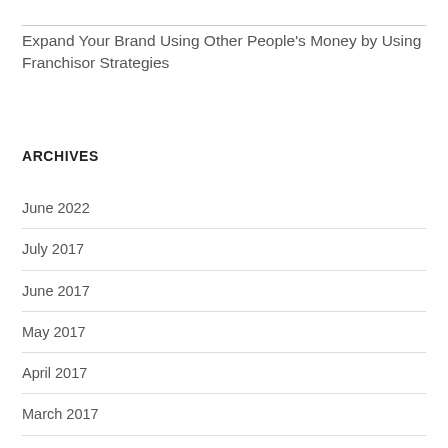Expand Your Brand Using Other People's Money by Using Franchisor Strategies
ARCHIVES
June 2022
July 2017
June 2017
May 2017
April 2017
March 2017